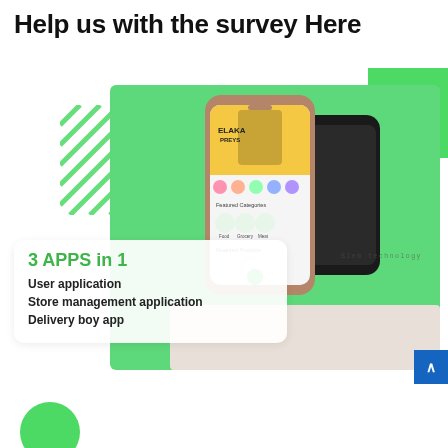Help us with the survey Here
[Figure (photo): Two smartphones displayed against a mint green background. The front phone shows a mobile app interface with a yellow banner, app icons, Featured Categories section, and Featured Products section. A second phone is partially visible behind. Decorative diagonal green stripes are visible on the left.]
3 APPS in 1
User application
Store management application
Delivery boy app